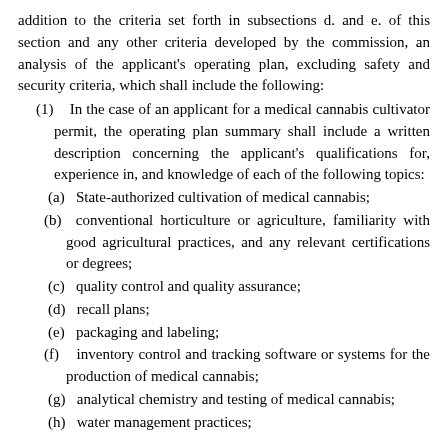addition to the criteria set forth in subsections d. and e. of this section and any other criteria developed by the commission, an analysis of the applicant's operating plan, excluding safety and security criteria, which shall include the following:
(1)    In the case of an applicant for a medical cannabis cultivator permit, the operating plan summary shall include a written description concerning the applicant's qualifications for, experience in, and knowledge of each of the following topics:
(a)   State-authorized cultivation of medical cannabis;
(b)  conventional horticulture or agriculture, familiarity with good agricultural practices, and any relevant certifications or degrees;
(c)   quality control and quality assurance;
(d)   recall plans;
(e)   packaging and labeling;
(f)    inventory control and tracking software or systems for the production of medical cannabis;
(g)   analytical chemistry and testing of medical cannabis;
(h)   water management practices;